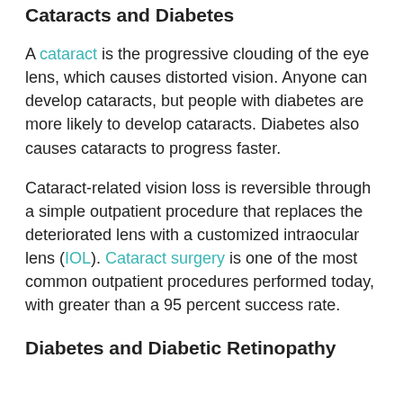Cataracts and Diabetes
A cataract is the progressive clouding of the eye lens, which causes distorted vision. Anyone can develop cataracts, but people with diabetes are more likely to develop cataracts. Diabetes also causes cataracts to progress faster.
Cataract-related vision loss is reversible through a simple outpatient procedure that replaces the deteriorated lens with a customized intraocular lens (IOL). Cataract surgery is one of the most common outpatient procedures performed today, with greater than a 95 percent success rate.
Diabetes and Diabetic Retinopathy